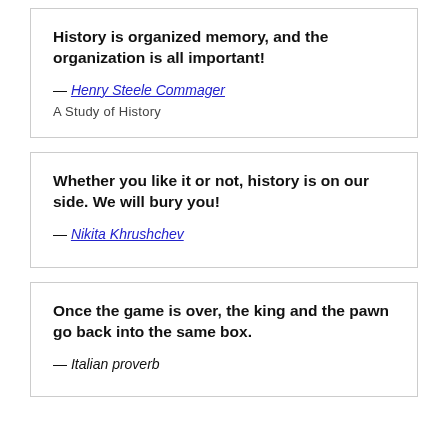History is organized memory, and the organization is all important!
— Henry Steele Commager
A Study of History
Whether you like it or not, history is on our side. We will bury you!
— Nikita Khrushchev
Once the game is over, the king and the pawn go back into the same box.
— Italian proverb